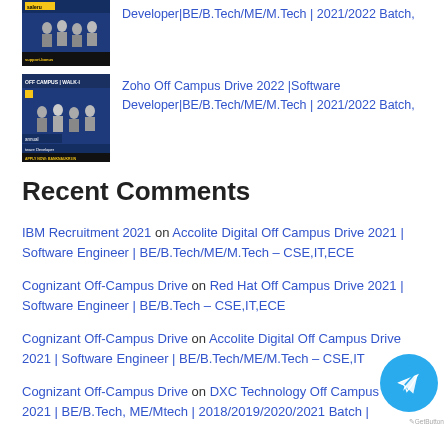[Figure (screenshot): Thumbnail image for job listing - dark blue background with people silhouettes]
Developer|BE/B.Tech/ME/M.Tech | 2021/2022 Batch,
[Figure (screenshot): Thumbnail image for Zoho Off Campus Drive 2022 listing]
Zoho Off Campus Drive 2022 |Software Developer|BE/B.Tech/ME/M.Tech | 2021/2022 Batch,
Recent Comments
IBM Recruitment 2021 on Accolite Digital Off Campus Drive 2021 | Software Engineer | BE/B.Tech/ME/M.Tech – CSE,IT,ECE
Cognizant Off-Campus Drive on Red Hat Off Campus Drive 2021 | Software Engineer | BE/B.Tech – CSE,IT,ECE
Cognizant Off-Campus Drive on Accolite Digital Off Campus Drive 2021 | Software Engineer | BE/B.Tech/ME/M.Tech – CSE,IT
Cognizant Off-Campus Drive on DXC Technology Off Campus Drive 2021 | BE/B.Tech, ME/Mtech | 2018/2019/2020/2021 Batch |